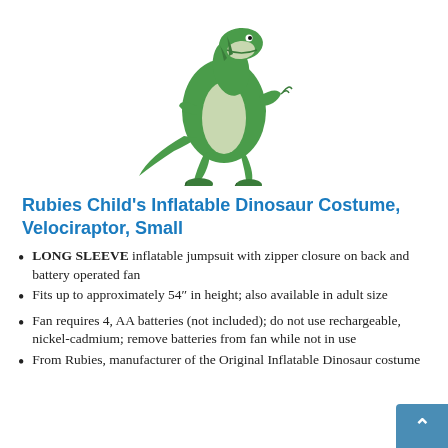[Figure (photo): Green inflatable velociraptor dinosaur costume on white background, showing the full-body jumpsuit standing upright]
Rubies Child's Inflatable Dinosaur Costume, Velociraptor, Small
LONG SLEEVE inflatable jumpsuit with zipper closure on back and battery operated fan
Fits up to approximately 54" in height; also available in adult size
Fan requires 4, AA batteries (not included); do not use rechargeable, nickel-cadmium; remove batteries from fan while not in use
From Rubies, manufacturer of the Original Inflatable Dinosaur costume